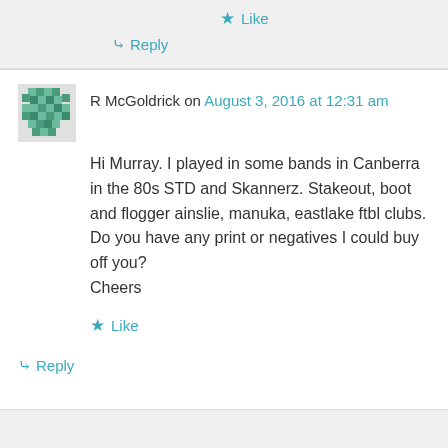Like
Reply
R McGoldrick on August 3, 2016 at 12:31 am
Hi Murray. I played in some bands in Canberra in the 80s STD and Skannerz. Stakeout, boot and flogger ainslie, manuka, eastlake ftbl clubs. Do you have any print or negatives I could buy off you?
Cheers
Like
Reply